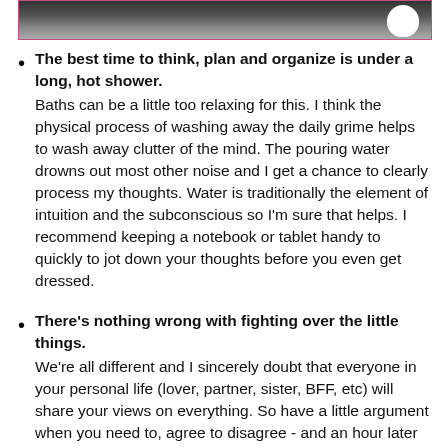[Figure (photo): Partial photo of a person, cropped, shown at top of page inside a pink-bordered box]
The best time to think, plan and organize is under a long, hot shower.
Baths can be a little too relaxing for this. I think the physical process of washing away the daily grime helps to wash away clutter of the mind. The pouring water drowns out most other noise and I get a chance to clearly process my thoughts. Water is traditionally the element of intuition and the subconscious so I'm sure that helps. I recommend keeping a notebook or tablet handy to quickly to jot down your thoughts before you even get dressed.
There's nothing wrong with fighting over the little things.
We're all different and I sincerely doubt that everyone in your personal life (lover, partner, sister, BFF, etc) will share your views on everything. So have a little argument when you need to, agree to disagree - and an hour later you'll realize how insignificant the issue